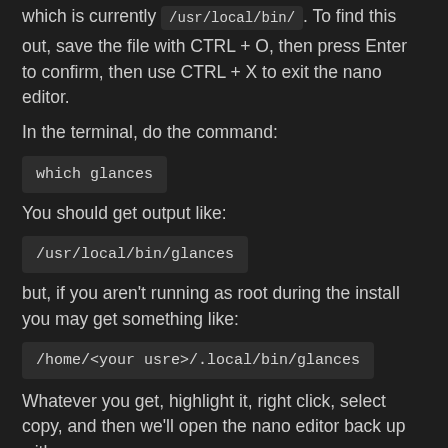which is currently /usr/local/bin/. To find this out, save the file with CTRL + O, then press Enter to confirm, then use CTRL + X to exit the nano editor.
In the terminal, do the command:
which glances
You should get output like:
/usr/local/bin/glances
but, if you aren't running as root during the install you may get something like:
/home/<your usre>/.local/bin/glances
Whatever you get, highlight it, right click, select copy, and then we'll open the nano editor back up with: